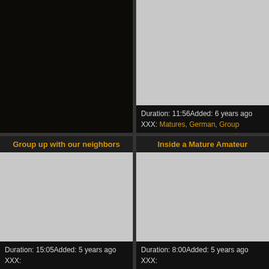[Figure (screenshot): Dark/black video thumbnail for top-left card]
[Figure (screenshot): Gray placeholder thumbnail for top-right card]
Duration: 11:56Added: 6 years ago XXX: Matures, German, Group
Group up with our neighbors
Inside a Mature Amateur
[Figure (screenshot): Gray placeholder thumbnail for bottom-left card]
Duration: 15:05Added: 5 years ago XXX:
[Figure (screenshot): Gray placeholder thumbnail for bottom-right card]
Duration: 8:00Added: 5 years ago XXX: